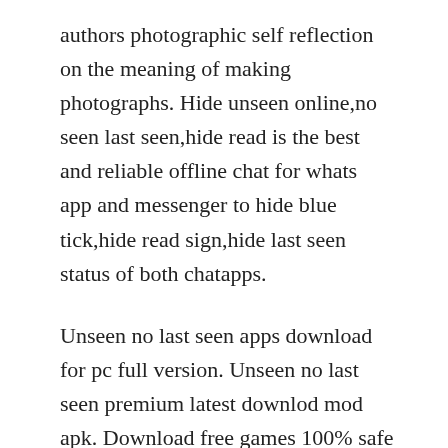authors photographic self reflection on the meaning of making photographs. Hide unseen online,no seen last seen,hide read is the best and reliable offline chat for whats app and messenger to hide blue tick,hide read sign,hide last seen status of both chatapps.
Unseen no last seen apps download for pc full version. Unseen no last seen premium latest downlod mod apk. Download free games 100% safe and secure free download. The unseen fears stories untold collectors edition. This have no affiliation whatsoever to